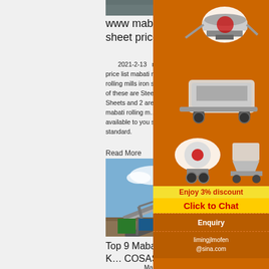[Figure (photo): Top cropped photo of machinery or industrial equipment]
www mabati rolling mills it sheet price list
2021-2-13   mabati rolling mills iron sheet price list mabati rolling . Alibaba offers 372 mabati rolling mills iron sheet price list products. About 36 of these are Steel Sheets 2 are Stainless Steel Sheets and 2 are Steel Strips. A wide variety of mabati rolling mills iron sheet price list options are available to you such as technique type and standard.
Read More
[Figure (photo): Photo of industrial conveyor belt and mining equipment outdoors]
Top 9 Mabati Rolling Mills from Ke... COSASTEEL
Mabati Rolling Mills has been the leading
[Figure (photo): Sidebar advertisement showing mining/crushing machinery on orange background with 'Enjoy 3% discount' and 'Click to Chat' buttons]
Enquiry
limingjlmofen @sina.com